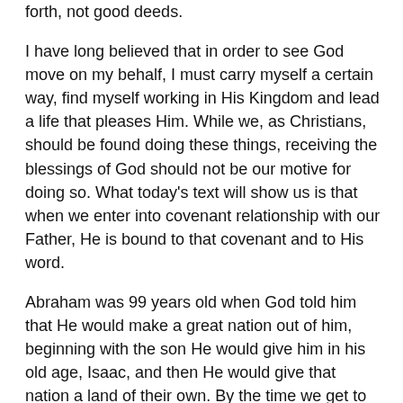forth, not good deeds.
I have long believed that in order to see God move on my behalf, I must carry myself a certain way, find myself working in His Kingdom and lead a life that pleases Him. While we, as Christians, should be found doing these things, receiving the blessings of God should not be our motive for doing so. What today's text will show us is that when we enter into covenant relationship with our Father, He is bound to that covenant and to His word.
Abraham was 99 years old when God told him that He would make a great nation out of him, beginning with the son He would give him in his old age, Isaac, and then He would give that nation a land of their own. By the time we get to Numbers 22, the first two promises had already been fulfilled